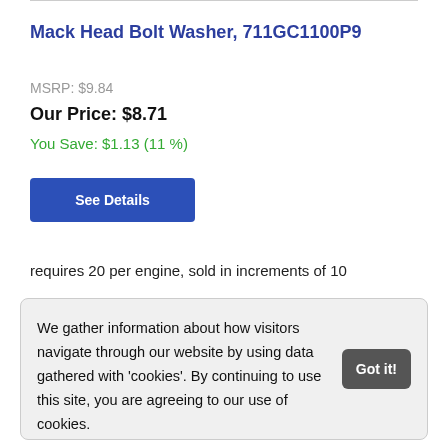Mack Head Bolt Washer, 711GC1100P9
MSRP: $9.84
Our Price: $8.71
You Save: $1.13 (11 %)
See Details
requires 20 per engine, sold in increments of 10
We gather information about how visitors navigate through our website by using data gathered with 'cookies'. By continuing to use this site, you are agreeing to our use of cookies. Learn more